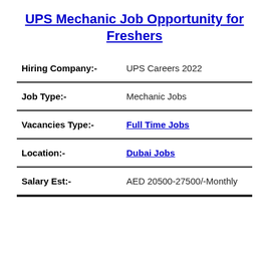UPS Mechanic Job Opportunity for Freshers
| Field | Value |
| --- | --- |
| Hiring Company:- | UPS Careers 2022 |
| Job Type:- | Mechanic Jobs |
| Vacancies Type:- | Full Time Jobs |
| Location:- | Dubai Jobs |
| Salary Est:- | AED 20500-27500/-Monthly |